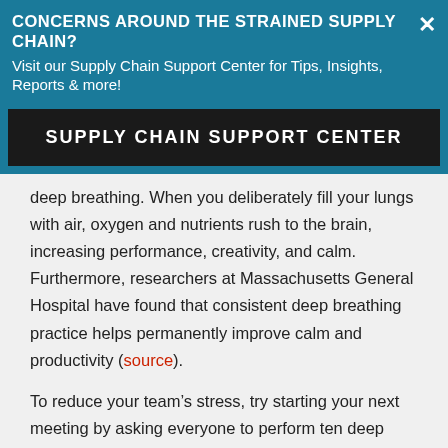CONCERNS AROUND THE STRAINED SUPPLY CHAIN?
Visit our Supply Chain Support Center for Tips, Insights, Reports & more!
SUPPLY CHAIN SUPPORT CENTER
deep breathing. When you deliberately fill your lungs with air, oxygen and nutrients rush to the brain, increasing performance, creativity, and calm. Furthermore, researchers at Massachusetts General Hospital have found that consistent deep breathing practice helps permanently improve calm and productivity (source).
To reduce your team’s stress, try starting your next meeting by asking everyone to perform ten deep breaths from the abdomen; 4 seconds in, 4